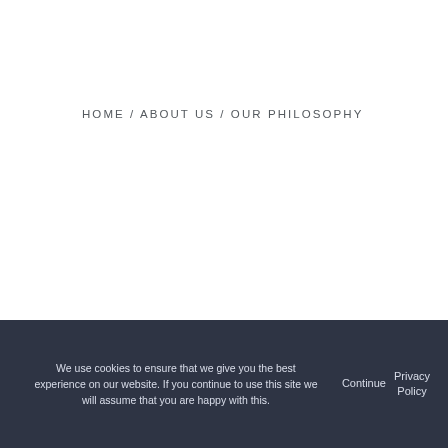HOME / ABOUT US / OUR PHILOSOPHY
We use cookies to ensure that we give you the best experience on our website. If you continue to use this site we will assume that you are happy with this. Continue  Privacy Policy